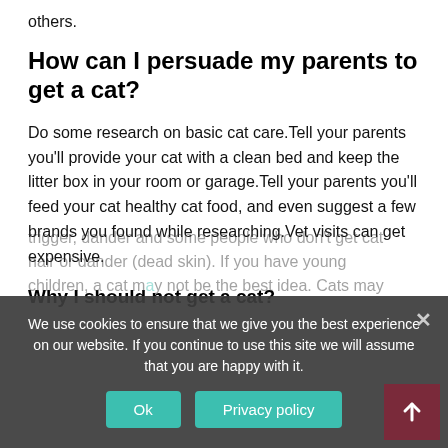others.
How can I persuade my parents to get a cat?
Do some research on basic cat care.Tell your parents you'll provide your cat with a clean bed and keep the litter box in your room or garage.Tell your parents you'll feed your cat healthy cat food, and even suggest a few brands you found while researching.Vet visits can get expensive.
Why I should not get a cat?
We use cookies to ensure that we give you the best experience on our website. If you continue to use this site we will assume that you are happy with it.